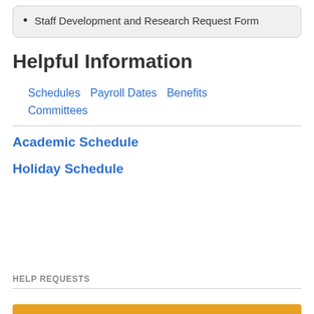Staff Development and Research Request Form
Helpful Information
Schedules  Payroll Dates  Benefits  Committees
Academic Schedule
Holiday Schedule
HELP REQUESTS